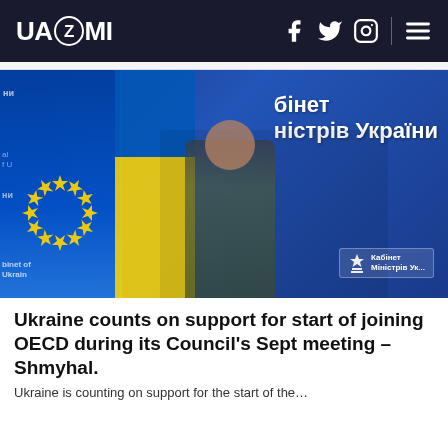UAZMI
[Figure (photo): Ukrainian official (Shmyhal) seated at a desk in front of EU and Ukrainian flags and a blue backdrop reading 'Кабінет Міністрів України' (Cabinet of Ministers of Ukraine)]
Ukraine counts on support for start of joining OECD during its Council's Sept meeting – Shmyhal.
Ukraine is counting on support for the start of the…